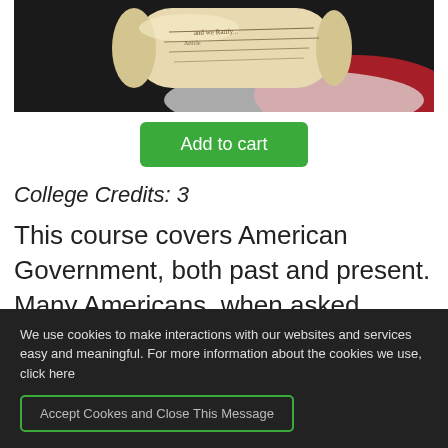[Figure (photo): A rolled parchment scroll with handwritten text, resting on red and white fabric, suggesting a historical/government document or diploma.]
Add to cart
College Credits: 3
This course covers American Government, both past and present. Many Americans, when asked, “Why study and understand
We use cookies to make interactions with our websites and services easy and meaningful. For more information about the cookies we use, click here
Accept Cookes and Close This Message